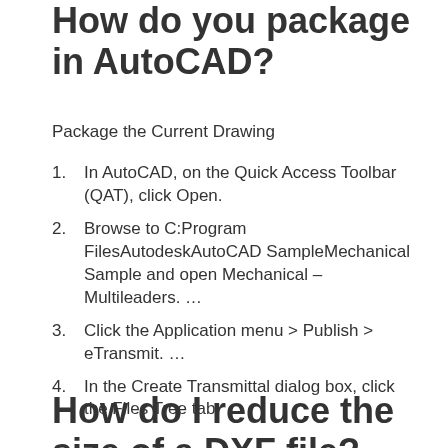How do you package in AutoCAD?
Package the Current Drawing
In AutoCAD, on the Quick Access Toolbar (QAT), click Open.
Browse to C:Program FilesAutodeskAutoCAD SampleMechanical Sample and open Mechanical – Multileaders. …
Click the Application menu > Publish > eTransmit. …
In the Create Transmittal dialog box, click the Files Tree tab.
How do I reduce the size of a DXF file?